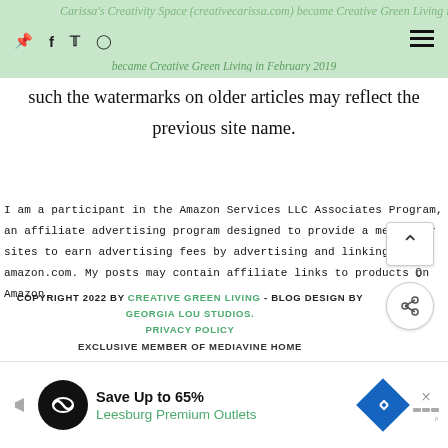Carissa's Creativity Space (creativecarissa.com) became Creative Green Living in February 2019
such the watermarks on older articles may reflect the previous site name.
I am a participant in the Amazon Services LLC Associates Program, an affiliate advertising program designed to provide a means for sites to earn advertising fees by advertising and linking to amazon.com. My posts may contain affiliate links to products on Amazon.
COPYRIGHT 2022 BY CREATIVE GREEN LIVING - BLOG DESIGN BY GEORGIA LOU STUDIOS. PRIVACY POLICY EXCLUSIVE MEMBER OF MEDIAVINE HOME
[Figure (screenshot): Advertisement banner: Save Up to 65% Leesburg Premium Outlets]